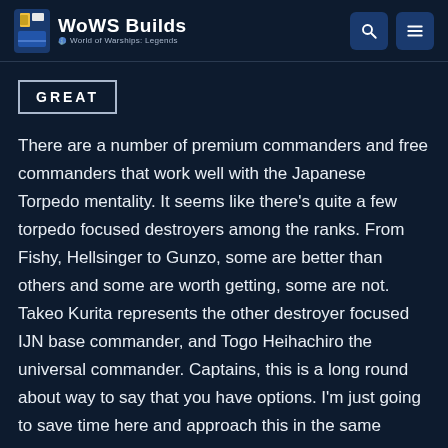WoWS Builds — World of Warships: Legends
GREAT
There are a number of premium commanders and free commanders that work well with the Japanese Torpedo mentality. It seems like there's quite a few torpedo focused destroyers among the ranks. From Fishy, Hellsinger to Gunzo, some are better than others and some are worth getting, some are not. Takeo Kurita represents the other destroyer focused IJN base commander, and Togo Heihachiro the universal commander. Captains, this is a long round about way to say that you have options. I'm just going to save time here and approach this in the same manner as USS Kidd. I'm going to tell all the best choices and